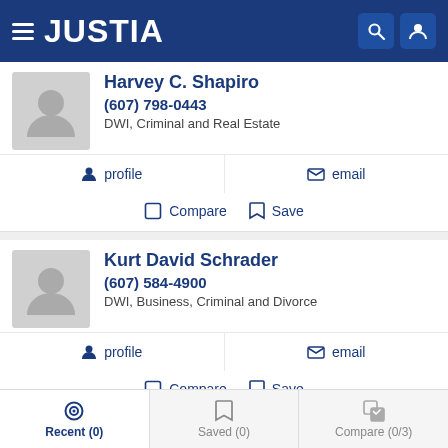JUSTIA
Harvey C. Shapiro
(607) 798-0443
DWI, Criminal and Real Estate
profile   email
Compare   Save
Kurt David Schrader
(607) 584-4900
DWI, Business, Criminal and Divorce
profile   email
Compare   Save
Recent (0)   Saved (0)   Compare (0/3)